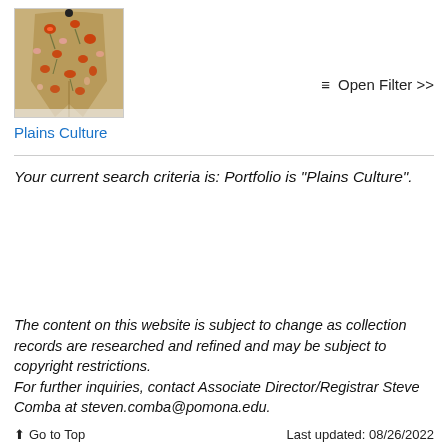[Figure (photo): Photograph of an embroidered garment (pants/leggings) with red and multicolor floral embroidery on a tan/brown background]
Plains Culture
≡ Open Filter >>
Your current search criteria is: Portfolio is "Plains Culture".
The content on this website is subject to change as collection records are researched and refined and may be subject to copyright restrictions.
For further inquiries, contact Associate Director/Registrar Steve Comba at steven.comba@pomona.edu.
⬆ Go to Top    Last updated: 08/26/2022